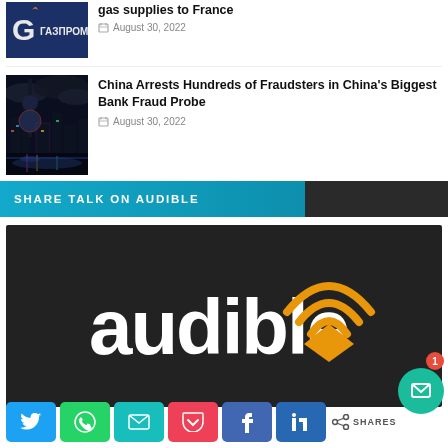[Figure (photo): Gazprom logo on dark blue background]
gas supplies to France
August 30, 2022
[Figure (photo): China city skyline at night with colorful lights and reflections]
China Arrests Hundreds of Fraudsters in China's Biggest Bank Fraud Probe
August 30, 2022
[Figure (infographic): SHARE TALK ON AUDIBLE banner in blue and dark]
[Figure (logo): Audible logo on dark background with orange headphones icon]
[Figure (infographic): Social share buttons row: Twitter, WhatsApp, Email, Pocket, Facebook, LinkedIn, and share count]